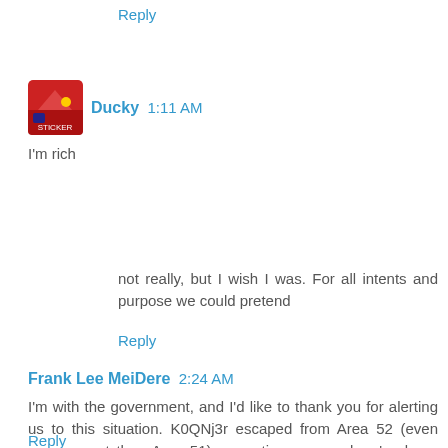Reply
Ducky  1:11 AM
I'm rich
not really, but I wish I was. For all intents and purpose we could pretend
Reply
Frank Lee MeiDere  2:24 AM
I'm with the government, and I'd like to thank you for alerting us to this situation. K0QNj3r escaped from Area 52 (even more secret than Area 51) some time ago and we've been trying to get him back.
Reply